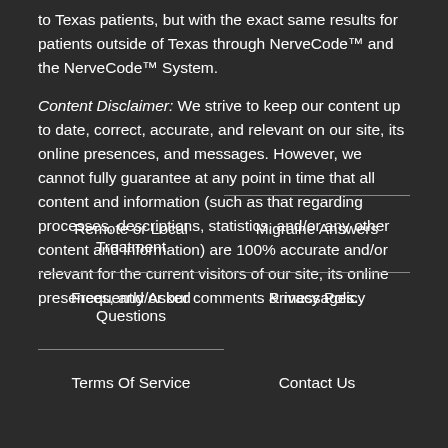to Texas patients, but with the exact same results for patients outside of Texas through NerveCode™ and the NerveCode™ System.
Content Disclaimer: We strive to keep our content up to date, correct, accurate, and relevant on our site, its online presences, and messages. However, we cannot fully guarantee at any point in time that all content and information (such as that regarding processes, descriptions, statistics, and/or any other content and information) are 100% accurate and/or relevant for the current visitors of our site, its online presences, and/or our comments & messages.
Remote or Local Treatment
Migraine Answers
Frequently Asked Questions
Privacy Policy
Terms Of Service
Contact Us